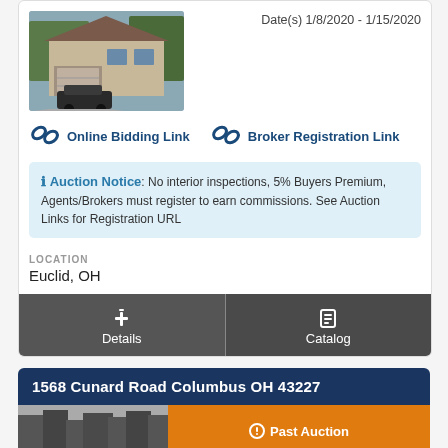Date(s) 1/8/2020 - 1/15/2020
[Figure (photo): Exterior photo of a house with a car in the driveway]
Online Bidding Link
Broker Registration Link
Auction Notice: No interior inspections, 5% Buyers Premium, Agents/Brokers must register to earn commissions. See Auction Links for Registration URL
LOCATION
Euclid, OH
Details
Catalog
1568 Cunard Road Columbus OH 43227
Past Auction